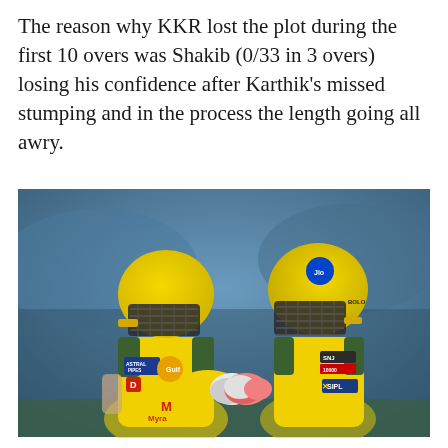The reason why KKR lost the plot during the first 10 overs was Shakib (0/33 in 3 overs) losing his confidence after Karthik's missed stumping and in the process the length going all awry.
[Figure (photo): Two CSK (Chennai Super Kings) cricket players in yellow helmets and yellow jerseys doing a fist bump/glove tap on the cricket field. Left player wears ASTRAL PIPES and Gulf logos; right player wears Jio, SNJ, and SIPL logos. Background shows stadium stands.]